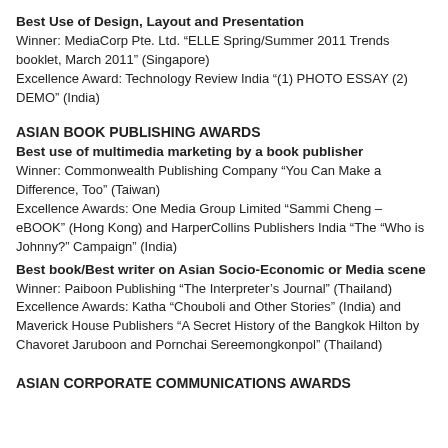Best Use of Design, Layout and Presentation
Winner: MediaCorp Pte. Ltd. “ELLE Spring/Summer 2011 Trends booklet, March 2011” (Singapore)
Excellence Award: Technology Review India “(1) PHOTO ESSAY (2) DEMO” (India)
ASIAN BOOK PUBLISHING AWARDS
Best use of multimedia marketing by a book publisher
Winner: Commonwealth Publishing Company “You Can Make a Difference, Too” (Taiwan)
Excellence Awards: One Media Group Limited “Sammi Cheng – eBOOK” (Hong Kong) and HarperCollins Publishers India “The “Who is Johnny?” Campaign” (India)
Best book/Best writer on Asian Socio-Economic or Media scene
Winner: Paiboon Publishing “The Interpreter’s Journal” (Thailand)
Excellence Awards: Katha “Chouboli and Other Stories” (India) and Maverick House Publishers “A Secret History of the Bangkok Hilton by Chavoret Jaruboon and Pornchai Sereemongkonpol” (Thailand)
ASIAN CORPORATE COMMUNICATIONS AWARDS